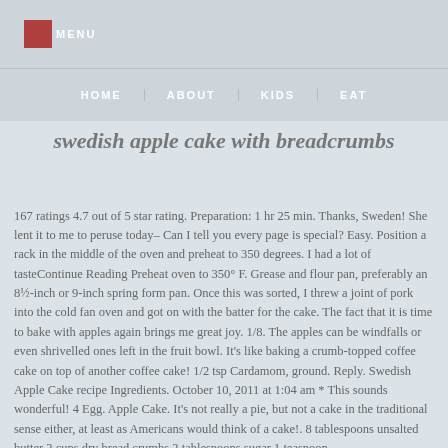MENU
HOME   ABOUT   KIDS   EAT
swedish apple cake with breadcrumbs
167 ratings 4.7 out of 5 star rating. Preparation: 1 hr 25 min. Thanks, Sweden! She lent it to me to peruse today– Can I tell you every page is special? Easy.  Position a rack in the middle of the oven and preheat to 350 degrees. I had a lot of tasteContinue Reading Preheat oven to 350° F. Grease and flour pan, preferably an 8½-inch or 9-inch spring form pan. Once this was sorted, I threw a joint of pork into the cold fan oven and got on with the batter for the cake. The fact that it is time to bake with apples again brings me great joy. 1/8. The apples can be windfalls or even shrivelled ones left in the fruit bowl. It's like baking a crumb-topped coffee cake on top of another coffee cake! 1/2 tsp Cardamom, ground. Reply. Swedish Apple Cake recipe Ingredients. October 10, 2011 at 1:04 am * This sounds wonderful! 4 Egg. Apple Cake. It's not really a pie, but not a cake in the traditional sense either, at least as Americans would think of a cake!. 8 tablespoons unsalted butter 2 cups dry bread crumbs 2 tablespoons sugar 1 teaspoon…